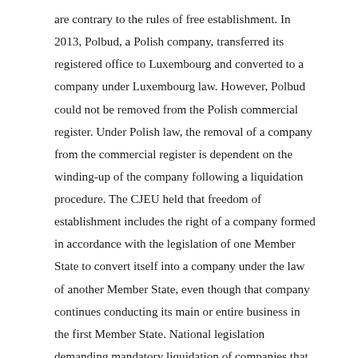are contrary to the rules of free establishment. In 2013, Polbud, a Polish company, transferred its registered office to Luxembourg and converted to a company under Luxembourg law. However, Polbud could not be removed from the Polish commercial register. Under Polish law, the removal of a company from the commercial register is dependent on the winding-up of the company following a liquidation procedure. The CJEU held that freedom of establishment includes the right of a company formed in accordance with the legislation of one Member State to convert itself into a company under the law of another Member State, even though that company continues conducting its main or entire business in the first Member State. National legislation demanding mandatory liquidation of companies that wish to transfer their registered office to another Member State constitutes a restriction on the freedom of establishment. The